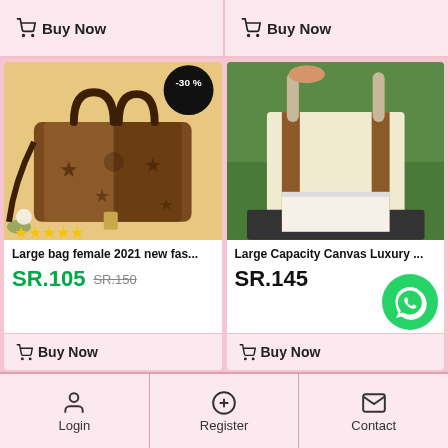Buy Now
Buy Now
[Figure (photo): Brown leather handbag with star pattern, discount badge -30%, 4 yellow stars rating]
Large bag female 2021 new fas...
SR.105  SR.150
Buy Now
[Figure (photo): Large canvas tote bag with dmnoi branding on green grass background]
Large Capacity Canvas Luxury ...
SR.145
[Figure (logo): WhatsApp green circle logo]
Buy Now
Login   Register   Contact